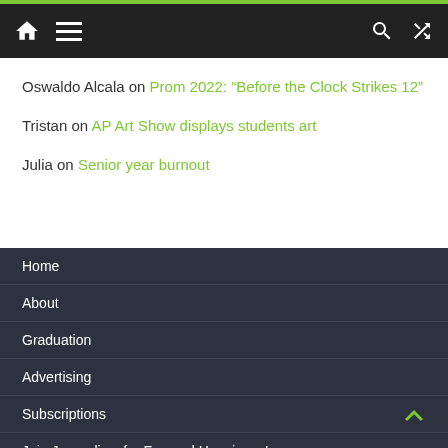Navigation bar with home, menu, search, and shuffle icons
Oswaldo Alcala on Prom 2022: “Before the Clock Strikes 12”
Tristan on AP Art Show displays students art
Julia on Senior year burnout
Home
About
Graduation
Advertising
Subscriptions
Join Journalism for Fun and Happiness!